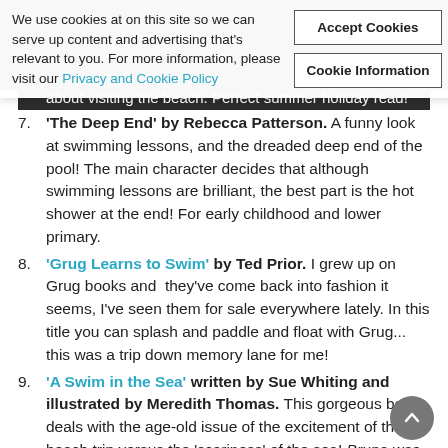[Figure (screenshot): Cookie consent banner overlay with text about cookies and two buttons: Accept Cookies and Cookie Information. Behind it is a dark navigation bar partially visible.]
about visiting the beach. Perfect summer holiday read!
7. 'The Deep End' by Rebecca Patterson. A funny look at swimming lessons, and the dreaded deep end of the pool! The main character decides that although swimming lessons are brilliant, the best part is the hot shower at the end! For early childhood and lower primary.
8. 'Grug Learns to Swim' by Ted Prior. I grew up on Grug books and they've come back into fashion it seems, I've seen them for sale everywhere lately. In this title you can splash and paddle and float with Grug... this was a trip down memory lane for me!
9. 'A Swim in the Sea' written by Sue Whiting and illustrated by Meredith Thomas. This gorgeous books deals with the age-old issue of the excitement of the beach trip versus the 'scariness' of the sea! Bruno was too excited for his jam toast.